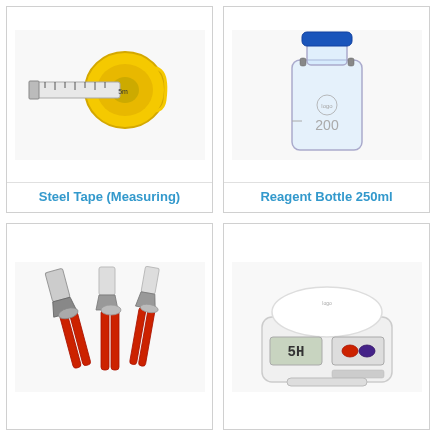[Figure (photo): Steel measuring tape, yellow body with silver tip, partially extended]
Steel Tape (Measuring)
[Figure (photo): Clear glass reagent bottle 250ml with blue screw cap]
Reagent Bottle 250ml
[Figure (photo): Three pliers with red handles - combination pliers, long nose pliers, and diagonal cutting pliers]
[Figure (photo): Digital kitchen weighing scale, white, with LCD display showing 5H]